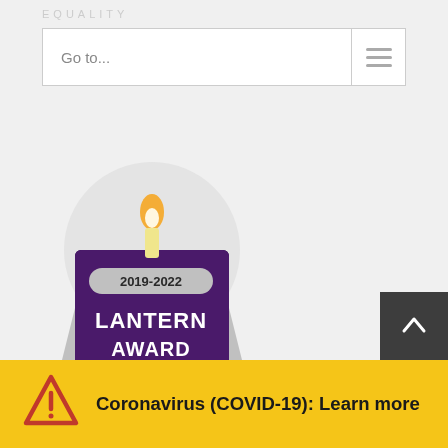EQUALITY
Go to...
[Figure (illustration): Lantern Award 2019-2022 badge/seal with a candle flame on purple background, silver ribbon design]
© 2022 Keck Medicine of USC | Privacy Policy | Keck Medicine Web Services
See important information from Keck Medicine of USC on Non-discrimination and Interpreter Services
Coronavirus (COVID-19): Learn more